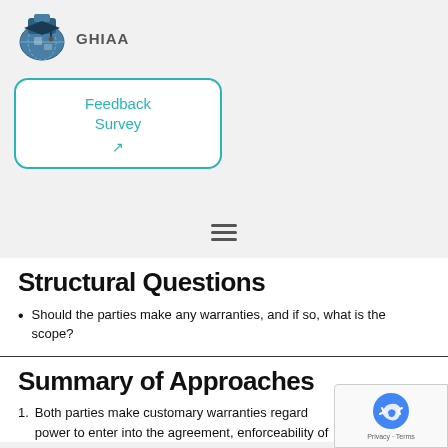[Figure (logo): GHIAA logo - blue globe with graduation cap puzzle piece]
[Figure (screenshot): Feedback Survey button with teal border and arrow]
[Figure (other): Hamburger menu icon (three horizontal lines)]
Structural Questions
Should the parties make any warranties, and if so, what is the scope?
Summary of Approaches
Both parties make customary warranties regarding power to enter into the agreement, enforceability of